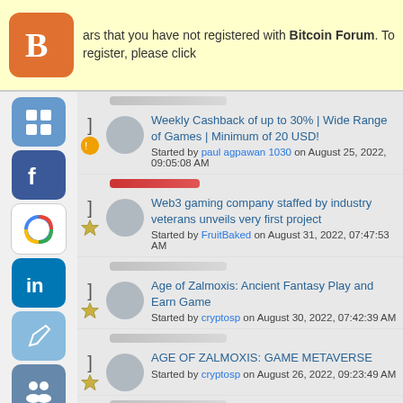ars that you have not registered with Bitcoin Forum. To register, please click
Weekly Cashback of up to 30% | Wide Range of Games | Minimum of 20 USD! Started by paul agpawan 1030 on August 25, 2022, 09:05:08 AM
Web3 gaming company staffed by industry veterans unveils very first project Started by FruitBaked on August 31, 2022, 07:47:53 AM
Age of Zalmoxis: Ancient Fantasy Play and Earn Game Started by cryptosp on August 30, 2022, 07:42:39 AM
AGE OF ZALMOXIS: GAME METAVERSE Started by cryptosp on August 26, 2022, 09:23:49 AM
Babylonia Always More Fun Started by shariarporosh on February 11, 2022, 06:18:43 AM
PLAY, CHILL, and EARN over $75k in Rewards in the WoodsVerse ICO Fuest